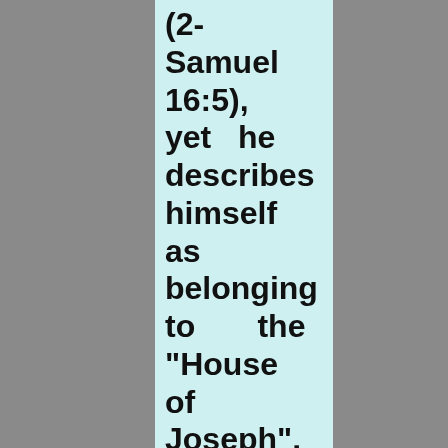(2-Samuel 16:5), yet he describes himself as belonging to the "House of Joseph". I AM COME THE FIRST THIS DAY OF